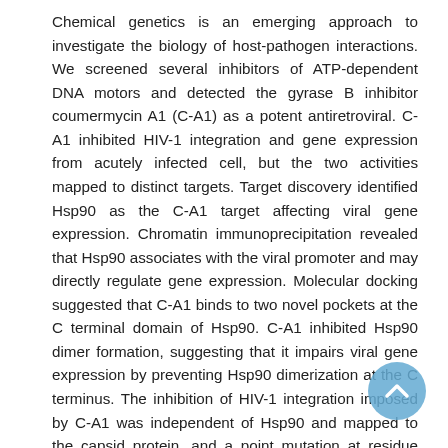Chemical genetics is an emerging approach to investigate the biology of host-pathogen interactions. We screened several inhibitors of ATP-dependent DNA motors and detected the gyrase B inhibitor coumermycin A1 (C-A1) as a potent antiretroviral. C-A1 inhibited HIV-1 integration and gene expression from acutely infected cell, but the two activities mapped to distinct targets. Target discovery identified Hsp90 as the C-A1 target affecting viral gene expression. Chromatin immunoprecipitation revealed that Hsp90 associates with the viral promoter and may directly regulate gene expression. Molecular docking suggested that C-A1 binds to two novel pockets at the C terminal domain of Hsp90. C-A1 inhibited Hsp90 dimer formation, suggesting that it impairs viral gene expression by preventing Hsp90 dimerization at the C terminus. The inhibition of HIV-1 integration imposed by C-A1 was independent of Hsp90 and mapped to the capsid protein, and a point mutation at residue 105 made the virus resistant to this block. HIV-1 susceptibility to the integration block mediated by C-A1 was influenced by cyclophilin A. Our chemical genetic approach revealed an unexpected function of capsid in HIV-1 integration and provided evidence for a role of Hsp90 in regulating gene expression in mammalian cells. Both activities
[Figure (other): A circular scroll-to-top button (blue/teal) with an upward-pointing chevron arrow, overlapping the bottom-right corner of the text.]